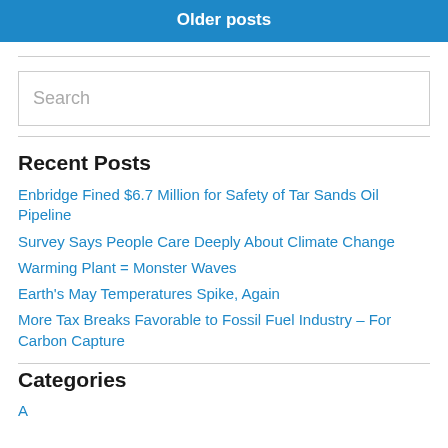Older posts
Enbridge Fined $6.7 Million for Safety of Tar Sands Oil Pipeline
Survey Says People Care Deeply About Climate Change
Warming Plant = Monster Waves
Earth's May Temperatures Spike, Again
More Tax Breaks Favorable to Fossil Fuel Industry – For Carbon Capture
Recent Posts
Categories
A